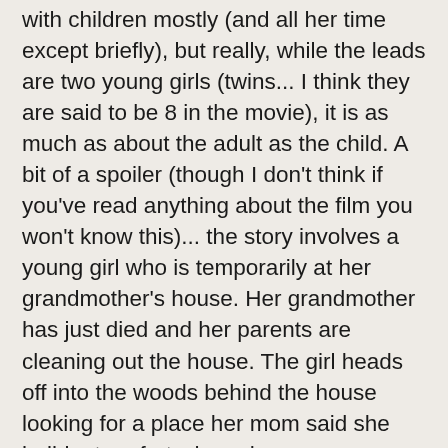with children mostly (and all her time except briefly), but really, while the leads are two young girls (twins... I think they are said to be 8 in the movie), it is as much as about the adult as the child. A bit of a spoiler (though I don't think if you've read anything about the film you won't know this)... the story involves a young girl who is temporarily at her grandmother's house. Her grandmother has just died and her parents are cleaning out the house. The girl heads off into the woods behind the house looking for a place her mom said she build a tree fort when she was young, and there the girl meets another young girl, her age, who looks just like her. When she goes to the other girl's house, she discovers it looks just her grandmother's house except everything is newer (or older depending on how you look at it). She's somehow met her mother when she was a child (and then her grandmother as a younger woman). I'm not usually a big fan of children in movies, but the actor's in this were excellent and they were written in a